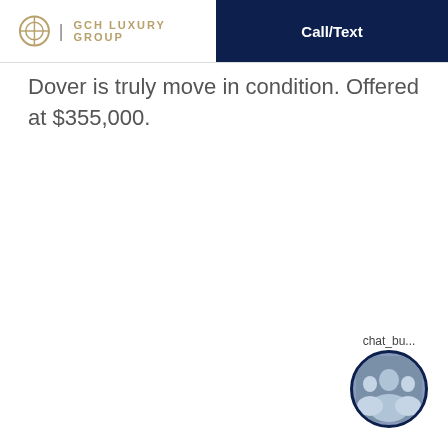GCH LUXURY GROUP | Call/Text
Dover is truly move in condition. Offered at $355,000.
[Figure (photo): Chat bubble with team photo avatar and label 'chat_bu...']